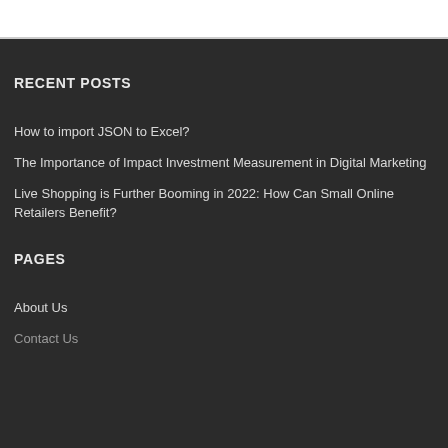RECENT POSTS
How to import JSON to Excel?
The Importance of Impact Investment Measurement in Digital Marketing
Live Shopping is Further Booming in 2022: How Can Small Online Retailers Benefit?
PAGES
About Us
Contact Us